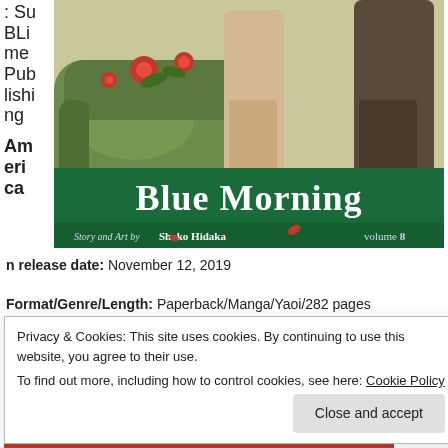: SuBLime Publishing
American release date: November 12, 2019
[Figure (illustration): Book cover of 'Blue Morning Volume 8' by Shoko Hidaka showing two figures standing near a green floral sofa, with the title in white text on a green banner, and 'Story and Art by Shoko Hidaka volume 8' at the bottom.]
Format/Genre/Length: Paperback/Manga/Yaoi/282 pages
Privacy & Cookies: This site uses cookies. By continuing to use this website, you agree to their use.
To find out more, including how to control cookies, see here: Cookie Policy
Close and accept